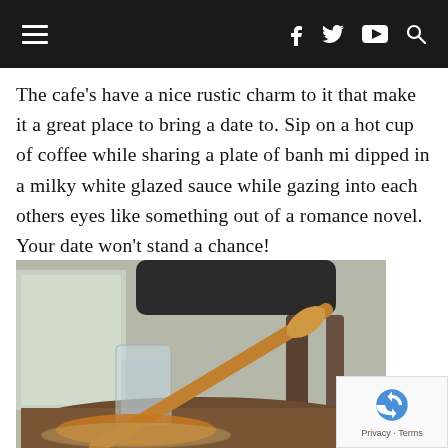Navigation bar with hamburger menu and social icons (f, twitter, youtube, search)
The cafe's have a nice rustic charm to it that make it a great place to bring a date to. Sip on a hot cup of coffee while sharing a plate of banh mi dipped in a milky white glazed sauce while gazing into each others eyes like something out of a romance novel. Your date won't stand a chance!
[Figure (photo): Photo of a cafe table with a wooden honey dipper resting over a glass of iced drink, with a chair and window in the background. Warm, rustic coffee shop ambiance.]